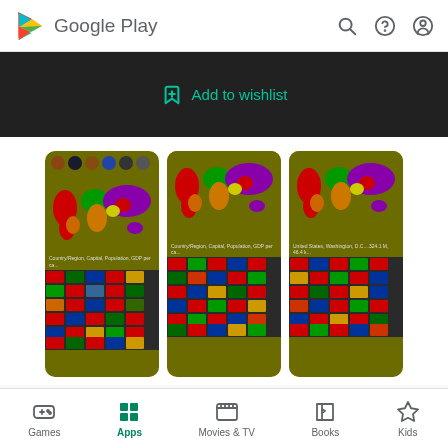[Figure (screenshot): Google Play header with logo, search, help, and account icons]
Add to wishlist
[Figure (screenshot): Three app screenshot cards showing a world map app with country flags, on an olive/dark yellow background]
[Figure (screenshot): Bottom navigation bar with Games, Apps (active), Movies & TV, Books, Kids tabs]